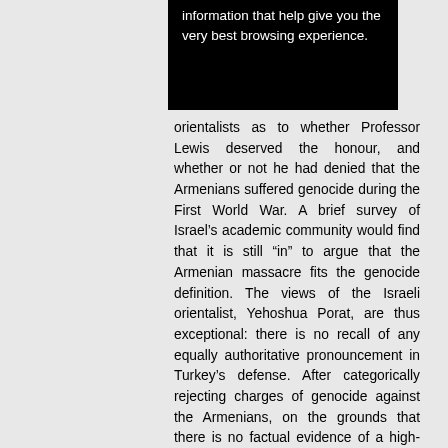information that help give you the very best browsing experience.
orientalists as to whether Professor Lewis deserved the honour, and whether or not he had denied that the Armenians suffered genocide during the First World War. A brief survey of Israel's academic community would find that it is still “in” to argue that the Armenian massacre fits the genocide definition. The views of the Israeli orientalist, Yehoshua Porat, are thus exceptional: there is no recall of any equally authoritative pronouncement in Turkey’s defense. After categorically rejecting charges of genocide against the Armenians, on the grounds that there is no factual evidence of a high-level Ottoman master plan for their annihilation, Porat adds: